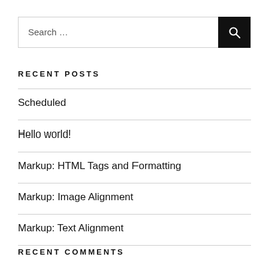Search …
RECENT POSTS
Scheduled
Hello world!
Markup: HTML Tags and Formatting
Markup: Image Alignment
Markup: Text Alignment
RECENT COMMENTS